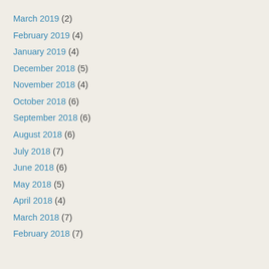March 2019 (2)
February 2019 (4)
January 2019 (4)
December 2018 (5)
November 2018 (4)
October 2018 (6)
September 2018 (6)
August 2018 (6)
July 2018 (7)
June 2018 (6)
May 2018 (5)
April 2018 (4)
March 2018 (7)
February 2018 (7)